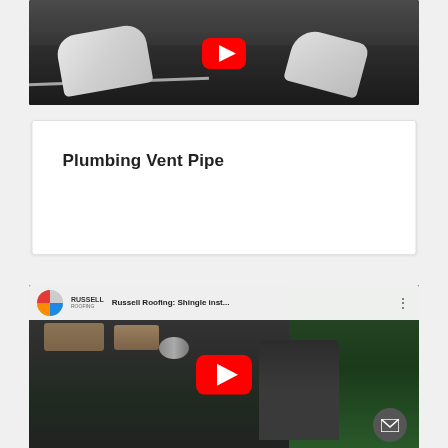[Figure (screenshot): YouTube video thumbnail showing a person in white gloves working on a dark rooftop, with a red YouTube play button overlay in the upper center]
Plumbing Vent Pipe
[Figure (screenshot): YouTube video embed showing Russell Roofing: Shingle inst... channel, with a person crouching on a rooftop, red YouTube play button overlay, and a dark circular email/contact FAB button in the lower right]